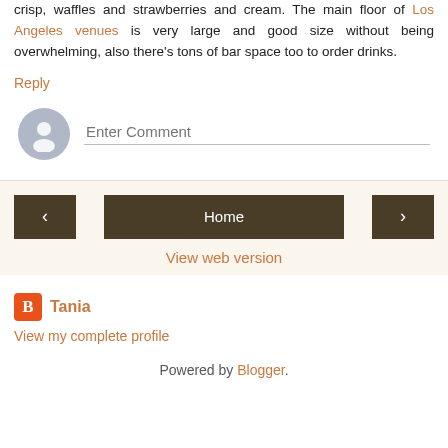crisp, waffles and strawberries and cream. The main floor of Los Angeles venues is very large and good size without being overwhelming, also there's tons of bar space too to order drinks.
Reply
[Figure (illustration): User avatar placeholder circle with a person silhouette icon, and an Enter Comment input field below it]
Home
View web version
[Figure (logo): Blogger orange icon with B letter]
Tania
View my complete profile
Powered by Blogger.